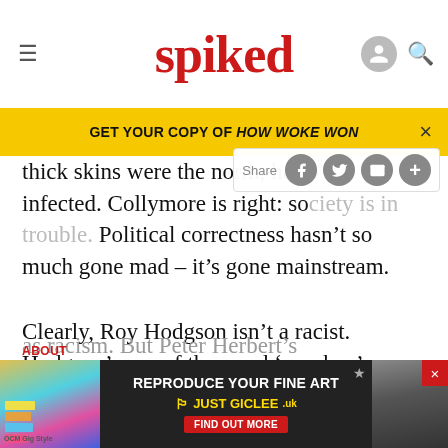spiked
GET YOUR COPY OF HOW WOKE WON
thick skins were the norm, has b infected. Collymore is right: society is in trouble. Political correctness hasn't so much gone mad – it's gone mainstream.
Clearly, Roy Hodgson isn't a racist. Hodgson's use of the word 'monkey' was not intended to hurt or insult Townsend. And Townsend, the 'monkey' in question, wasn't offended. Of course, it's absurd to classify this as racism. But Peter Herbert's interpretation of the
as racism. But Peter Herbert's interpretation of the